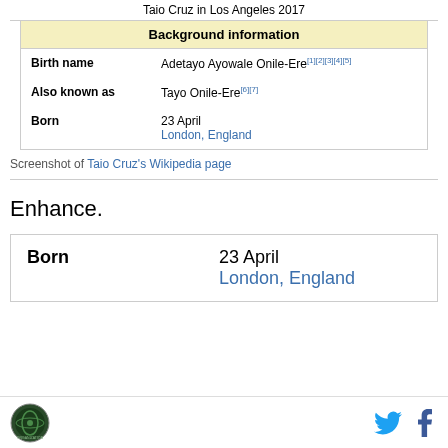[Figure (screenshot): Screenshot of Taio Cruz's Wikipedia infobox showing Background information table with Birth name (Adetayo Ayowale Onile-Ere[1][2][3][4][5]), Also known as (Tayo Onile-Ere[6][7]), Born (23 April, London, England)]
Screenshot of Taio Cruz's Wikipedia page
Enhance.
| Born |  |
| --- | --- |
| Born | 23 April
London, England |
[Figure (logo): Circular organization logo in bottom left footer]